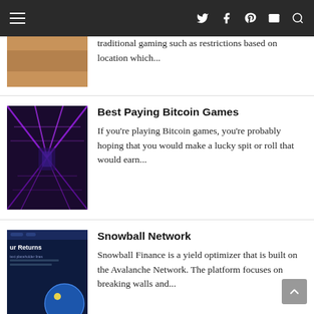Navigation bar with hamburger menu and icons: twitter, facebook, pinterest, mail, search
traditional gaming such as restrictions based on location which...
Best Paying Bitcoin Games
If you're playing Bitcoin games, you're probably hoping that you would make a lucky spit or roll that would earn...
Snowball Network
Snowball Finance is a yield optimizer that is built on the Avalanche Network. The platform focuses on breaking walls and...
The Power of Investing Early
To truly understand the power of investing earl, take a look at this quote from Warren buffet... "I started